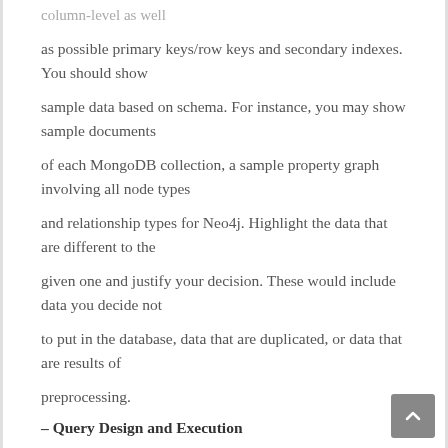column-level as well
as possible primary keys/row keys and secondary indexes. You should show
sample data based on schema. For instance, you may show sample documents
of each MongoDB collection, a sample property graph involving all node types
and relationship types for Neo4j. Highlight the data that are different to the
given one and justify your decision. These would include data you decide not
to put in the database, data that are duplicated, or data that are results of
preprocessing.
– Query Design and Execution
In this section, describe implementation of each target